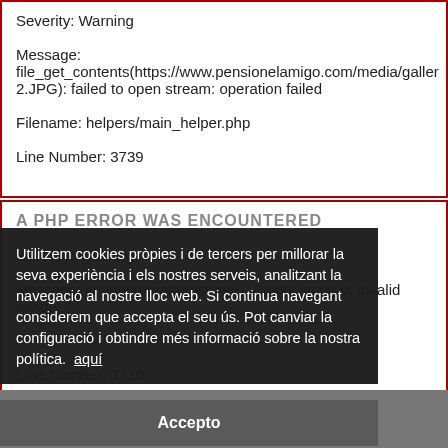Severity: Warning

Message:
file_get_contents(https://www.pensionelamigo.com/media/galler 2.JPG): failed to open stream: operation failed

Filename: helpers/main_helper.php

Line Number: 3739
A PHP ERROR WAS ENCOUNTERED

Severity: Warning

Message: imagecreatefromstring(): Empty string or invalid image

Filename: helpers/main_helper.php

Line Number: 3716
Utilitzem cookies pròpies i de tercers per millorar la seva experiència i els nostres serveis, analitzant la navegació al nostre lloc web. Si continua navegant considerem que accepta el seu ús. Pot canviar la configuració i obtindre més informació sobre la nostra política. aquí
Accepto